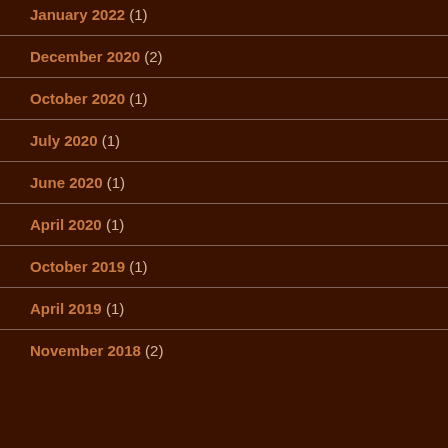January 2022 (1)
December 2020 (2)
October 2020 (1)
July 2020 (1)
June 2020 (1)
April 2020 (1)
October 2019 (1)
April 2019 (1)
November 2018 (2)